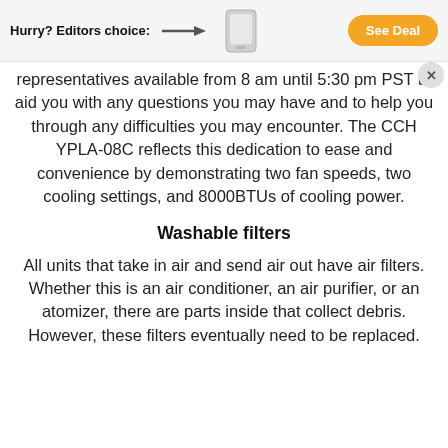Hurry? Editors choice: → [product image] See Deal
representatives available from 8 am until 5:30 pm PST to aid you with any questions you may have and to help you through any difficulties you may encounter. The CCH YPLA-08C reflects this dedication to ease and convenience by demonstrating two fan speeds, two cooling settings, and 8000BTUs of cooling power.
Washable filters
All units that take in air and send air out have air filters. Whether this is an air conditioner, an air purifier, or an atomizer, there are parts inside that collect debris. However, these filters eventually need to be replaced.